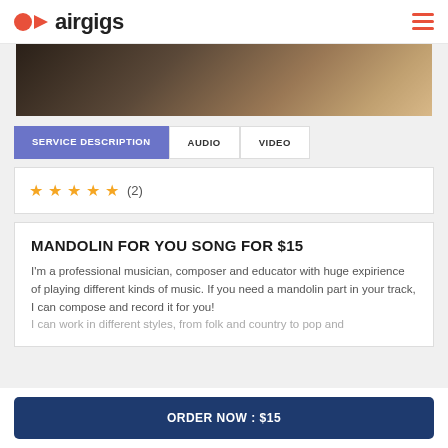airgigs
[Figure (photo): Partial view of a musician or person, dark/warm toned photo strip]
SERVICE DESCRIPTION | AUDIO | VIDEO
★ ★ ★ ★ ★ (2)
MANDOLIN FOR YOU SONG FOR $15
I'm a professional musician, composer and educator with huge expirience of playing different kinds of music. If you need a mandolin part in your track, I can compose and record it for you! I can work in different styles, from folk and country to pop and
ORDER NOW : $15